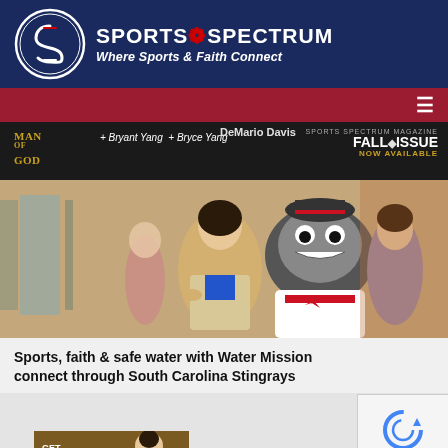[Figure (logo): Sports Spectrum logo with circular S icon and text 'SPORTS SPECTRUM - Where Sports & Faith Connect' on navy blue background]
[Figure (screenshot): Red navigation bar with hamburger menu icon on right]
[Figure (photo): Banner ad for Sports Spectrum Magazine Fall Issue featuring DeMario Davis, Man of God, Bryant Young, Bryce Song]
[Figure (photo): Photo of a woman posing with South Carolina Stingrays hockey mascot (stingray costume) in a lobby/hallway setting]
Sports, faith & safe water with Water Mission connect through South Carolina Stingrays
[Figure (photo): Partial banner image at bottom with text 'Get in the Game']
[Figure (other): reCAPTCHA widget with Privacy and Terms links]